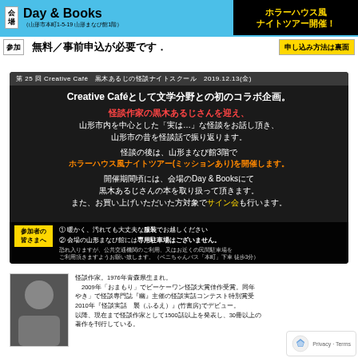[Figure (infographic): Top banner with venue info: Day & Books (山形市本町1-5-19 山形まなび館1階), horror house night tour announcement in black/gold, participation info 無料／事前申込が必要です, 申し込み方法は裏面]
[Figure (infographic): Promotional card for 第25回 Creative Café 黒木あるじの怪談ナイトスクール 2019.12.13(金) with event details in Japanese on dark background]
[Figure (photo): Black and white photo of a man (怪談作家 黒木あるじ)]
怪談作家。1976年青森県生まれ。2009年「おまもり」でビーケーワン怪談大賞佳作受賞。同年「やき」で怪談専門誌『幽』主催の怪談実話コンテスト特別賞受賞。2010年『怪談実話 襲（ふるえ）』(竹書房)でデビュー。以降、現在まで怪談作家として1500話以上を発表し、30冊以上の著作を刊行している。